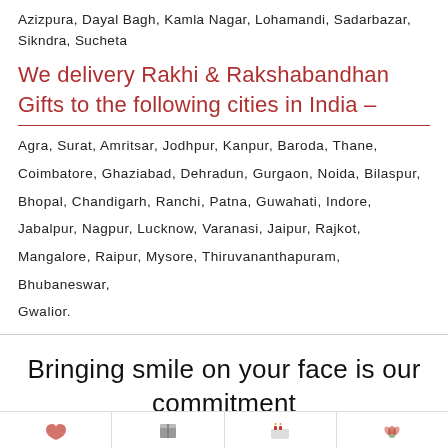Azizpura, Dayal Bagh, Kamla Nagar, Lohamandi, Sadarbazar, Sikndra, Sucheta
We delivery Rakhi & Rakshabandhan Gifts to the following cities in India –
Agra, Surat, Amritsar, Jodhpur, Kanpur, Baroda, Thane, Coimbatore, Ghaziabad, Dehradun, Gurgaon, Noida, Bilaspur, Bhopal, Chandigarh, Ranchi, Patna, Guwahati, Indore, Jabalpur, Nagpur, Lucknow, Varanasi, Jaipur, Rajkot, Mangalore, Raipur, Mysore, Thiruvananthapuram, Bhubaneswar, Gwalior.
Bringing smile on your face is our commitment
[Figure (other): Bottom strip with four small icons separated by vertical dividers]